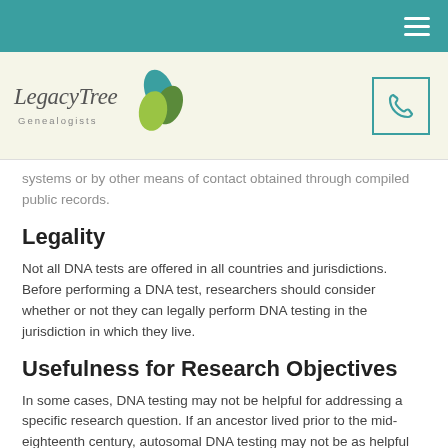LegacyTree Genealogists — navigation bar
[Figure (logo): LegacyTree Genealogists logo with leaf graphic and phone icon]
systems or by other means of contact obtained through compiled public records.
Legality
Not all DNA tests are offered in all countries and jurisdictions. Before performing a DNA test, researchers should consider whether or not they can legally perform DNA testing in the jurisdiction in which they live.
Usefulness for Research Objectives
In some cases, DNA testing may not be helpful for addressing a specific research question. If an ancestor lived prior to the mid-eighteenth century, autosomal DNA testing may not be as helpful for extending their ancestral